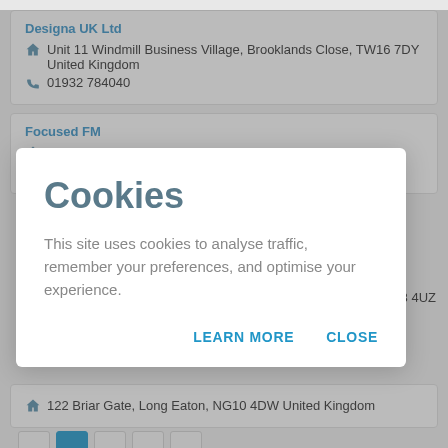Designa UK Ltd
Unit 11 Windmill Business Village, Brooklands Close, TW16 7DY United Kingdom
01932 784040
Focused FM
PO BOX 2011, WV3 8TQ United Kingdom
01902 765620
18 4UZ
Cookies
This site uses cookies to analyse traffic, remember your preferences, and optimise your experience.
LEARN MORE
CLOSE
122 Briar Gate, Long Eaton, NG10 4DW United Kingdom